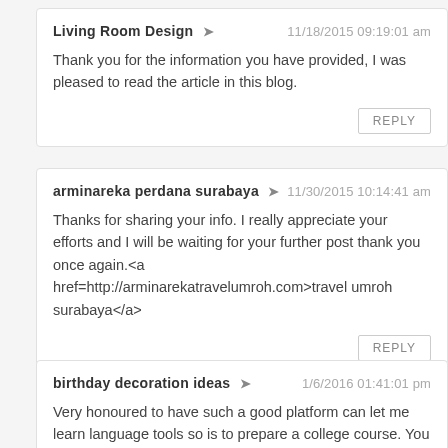Living Room Design → 11/18/2015 09:19:01 am
Thank you for the information you have provided, I was pleased to read the article in this blog.
REPLY
arminareka perdana surabaya → 11/30/2015 10:14:41 am
Thanks for sharing your info. I really appreciate your efforts and I will be waiting for your further post thank you once again.<a href=http://arminarekatravelumroh.com>travel umroh surabaya</a>
REPLY
birthday decoration ideas → 1/6/2016 01:41:01 pm
Very honoured to have such a good platform can let me learn language tools so is to prepare a college course. You can use the software to learn a language, and then fly through your college course